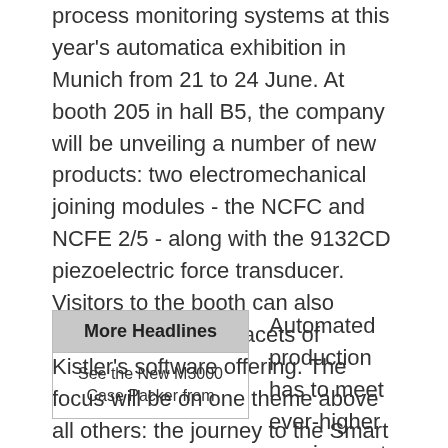process monitoring systems at this year's automatica exhibition in Munich from 21 to 24 June. At booth 205 in hall B5, the company will be unveiling a number of new products: two electromechanical joining modules - the NCFC and NCFE 2/5 - along with the 9132CD piezoelectric force transducer. Visitors to the booth can also discover the many facets of Kistler's software offering. The focus will be on one theme above all others: the journey to the Smart Factory, driven by digitized processes.
| More Headlines |
| --- |
| See the New M3000 Case Packer from |
Automated production has to meet ever-higher requirements if it is to